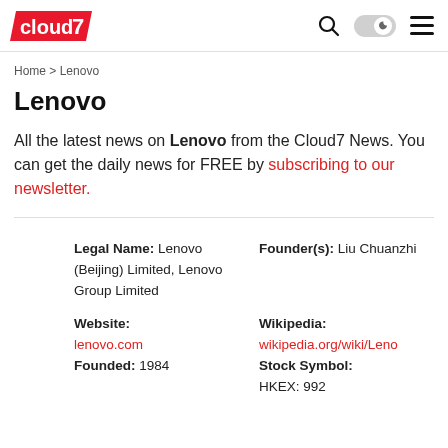cloud7 [logo] [search icon] [dark mode toggle] [menu icon]
Home > Lenovo
Lenovo
All the latest news on Lenovo from the Cloud7 News. You can get the daily news for FREE by subscribing to our newsletter.
| Legal Name: Lenovo (Beijing) Limited, Lenovo Group Limited | Founder(s): Liu Chuanzhi |
| Website: lenovo.com | Wikipedia: wikipedia.org/wiki/Leno... |
| Founded: 1984 | Stock Symbol: HKEX: 992 |